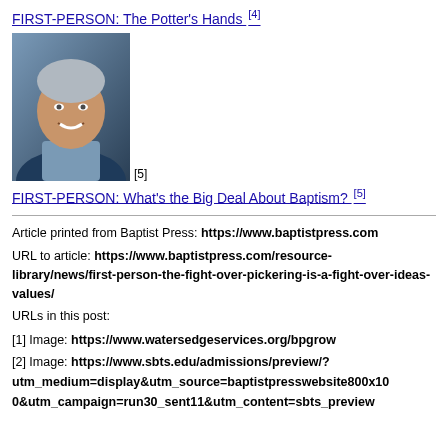FIRST-PERSON: The Potter's Hands [4]
[Figure (photo): Headshot of a middle-aged man with gray hair, smiling, wearing a blue plaid shirt and dark jacket. Reference marker [5] appears below the image.]
FIRST-PERSON: What's the Big Deal About Baptism? [5]
Article printed from Baptist Press: https://www.baptistpress.com
URL to article: https://www.baptistpress.com/resource-library/news/first-person-the-fight-over-pickering-is-a-fight-over-ideas-values/
URLs in this post:
[1] Image: https://www.watersedgeservices.org/bpgrow
[2] Image: https://www.sbts.edu/admissions/preview/?utm_medium=display&utm_source=baptistpresswebsite800x100&utm_campaign=run30_sent11&utm_content=sbts_preview